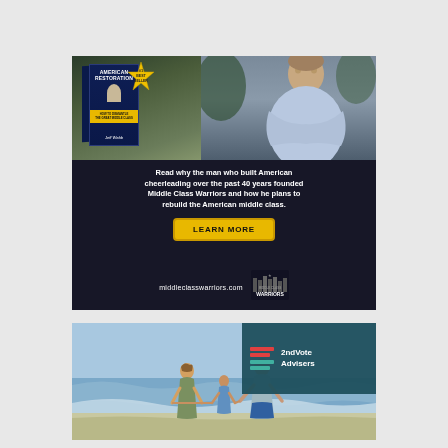[Figure (illustration): Advertisement for 'American Restoration' book by Jeff Webb. Shows book cover with #1 Best Seller badge and a man in a light blue shirt with arms crossed. Text reads: 'Read why the man who built American cheerleading over the past 40 years founded Middle Class Warriors and how he plans to rebuild the American middle class.' Includes LEARN MORE button and middleclasswarriors.com URL with Middle Class Warriors logo.]
[Figure (illustration): Advertisement for 2ndVote Advisers. Shows a family of three (two adults and a child) holding hands on a beach facing the waves. A teal-colored box with red and teal horizontal stripes logo and '2ndVote Advisers' branding appears in the upper right corner.]